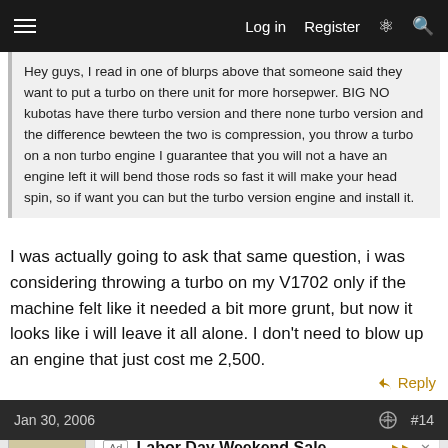Log in  Register
Hey guys, I read in one of blurps above that someone said they want to put a turbo on there unit for more horsepwer. BIG NO kubotas have there turbo version and there none turbo version and the difference bewteen the two is compression, you throw a turbo on a non turbo engine I guarantee that you will not a have an engine left it will bend those rods so fast it will make your head spin, so if want you can but the turbo version engine and install it.
I was actually going to ask that same question, i was considering throwing a turbo on my V1702 only if the machine felt like it needed a bit more grunt, but now it looks like i will leave it all alone. I don't need to blow up an engine that just cost me 2,500.
Reply
Jan 30, 2006  #14
[Figure (other): Avatar number 7 placeholder and advertisement for Labor Day Weekend Sale by PUMA]